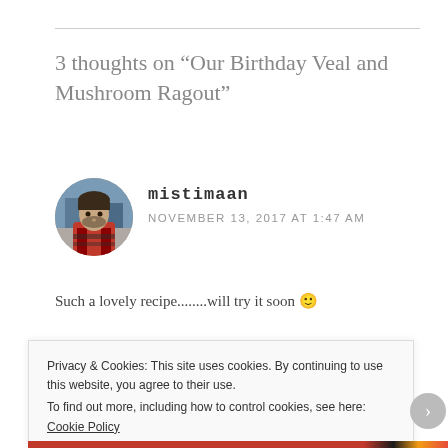3 thoughts on “Our Birthday Veal and Mushroom Ragout”
mistimaan
NOVEMBER 13, 2017 AT 1:47 AM
Such a lovely recipe........will try it soon 🙂
★ Liked by 1 person
Reply
Privacy & Cookies: This site uses cookies. By continuing to use this website, you agree to their use.
To find out more, including how to control cookies, see here: Cookie Policy
Close and accept